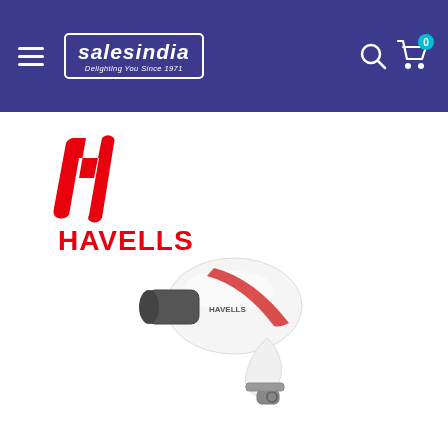salesindia - Delighting You Since 1971
[Figure (logo): Havells brand logo with red H emblem and red HAVELLS text]
[Figure (photo): Havells white and red hair dryer product photo on white background]